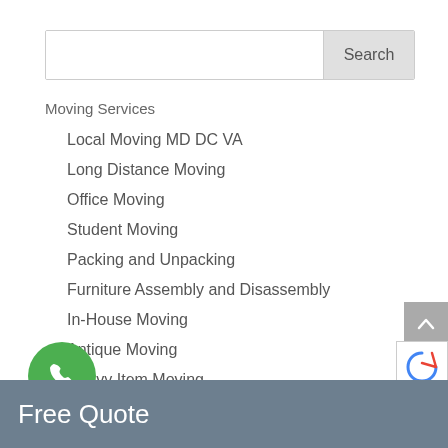[Figure (screenshot): Search bar with text input and Search button]
Moving Services
Local Moving MD DC VA
Long Distance Moving
Office Moving
Student Moving
Packing and Unpacking
Furniture Assembly and Disassembly
In-House Moving
Antique Moving
Heavy Item Moving
Free Quote